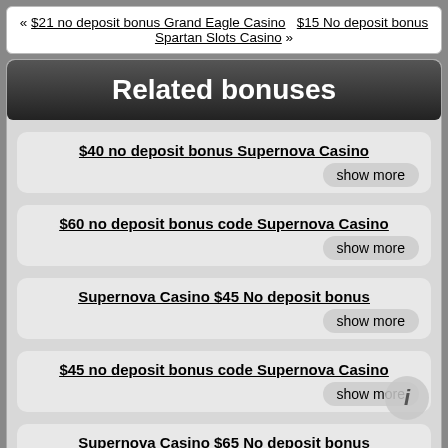« $21 no deposit bonus Grand Eagle Casino   $15 No deposit bonus Spartan Slots Casino »
Related bonuses
$40 no deposit bonus Supernova Casino — show more
$60 no deposit bonus code Supernova Casino — show more
Supernova Casino $45 No deposit bonus — show more
$45 no deposit bonus code Supernova Casino — show more
Supernova Casino $65 No deposit bonus (partial)